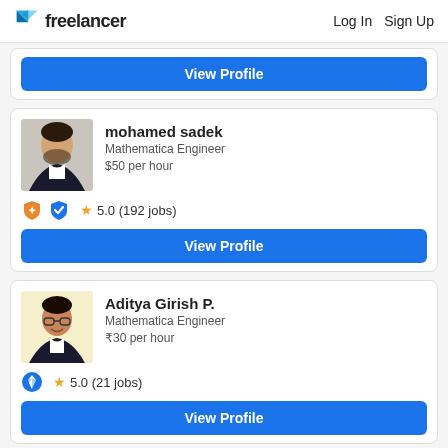freelancer  Log In  Sign Up
[Figure (screenshot): Partial freelancer profile card with View Profile button (top of page, card cut off)]
mohamed sadek
Mathematica Engineer
$50 per hour
[Figure (screenshot): Badge icons: orange shield and blue checkmark shield]
★ 5.0 (192 jobs)
View Profile
Aditya Girish P.
Mathematica Engineer
₹30 per hour
[Figure (screenshot): Badge icon: blue Freelancer preferred badge]
★ 5.0 (21 jobs)
View Profile